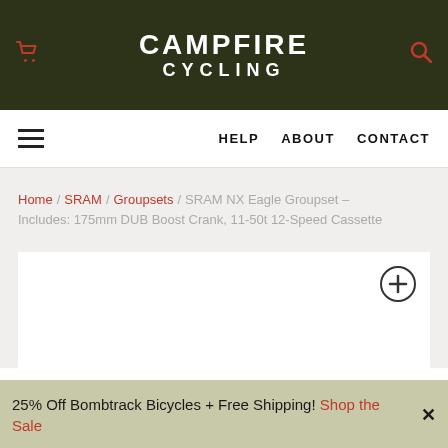CAMPFIRE CYCLING
HELP  ABOUT  CONTACT
Home / SRAM / Groupsets / SRAM NX Eagle Groupset – Includes: 175mm DUB Boost Crank, 11-50t 12-Speed Cassette
[Figure (photo): Product image area with white background and zoom/expand icon in top right corner]
25% Off Bombtrack Bicycles + Free Shipping! Shop the Sale